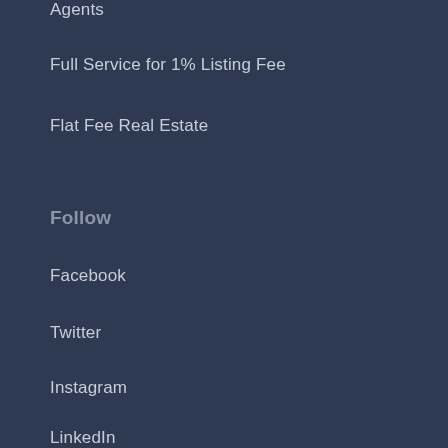Agents
Full Service for 1% Listing Fee
Flat Fee Real Estate
Follow
Facebook
Twitter
Instagram
LinkedIn